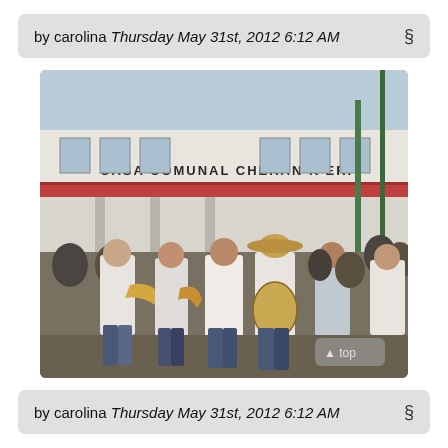by carolina Thursday May 31st, 2012 6:12 AM §
[Figure (photo): Outdoor photograph of a mariachi-style band performing in front of a white colonial building labeled 'CASA COMUNAL CHERAN K'ERI'. Several musicians play trumpets, guitars, and other instruments. A crowd gathers around them. A 'top' button overlay appears at the bottom right of the photo.]
by carolina Thursday May 31st, 2012 6:12 AM §